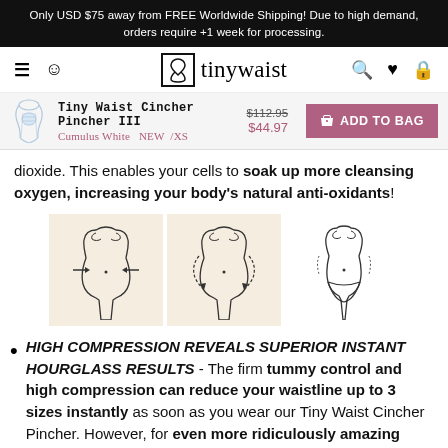Only USD $75 away from FREE Worldwide Shipping! Due to high demand, orders require +1 week for processing.
[Figure (logo): Tinywaist logo with hourglass icon and navigation icons (hamburger menu, user, search, heart, bag)]
| Product | Price | Action |
| --- | --- | --- |
| Tiny Waist Cincher Pincher III
Cumulus White  NEW  /XS | $112.95
$44.97 | ADD TO BAG |
dioxide. This enables your cells to soak up more cleansing oxygen, increasing your body's natural anti-oxidants!
[Figure (illustration): Three body silhouette illustrations showing waist compression: arrows pressing inward on first figure (beige background), figure with dotted compression lines (beige background), and slimmed figure result (white background)]
HIGH COMPRESSION REVEALS SUPERIOR INSTANT HOURGLASS RESULTS - The firm tummy control and high compression can reduce your waistline up to 3 sizes instantly as soon as you wear our Tiny Waist Cincher Pincher. However, for even more ridiculously amazing